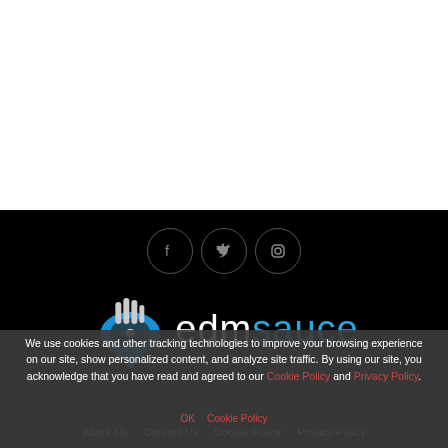[Figure (logo): EDMsauce website footer with logo, social icons (Facebook, Twitter, Instagram), navigation links, and a cookie consent overlay banner]
We use cookies and other tracking technologies to improve your browsing experience on our site, show personalized content, and analyze site traffic. By using our site, you acknowledge that you have read and agreed to our Cookie Policy and Privacy Policy.
OK  Cookie Policy